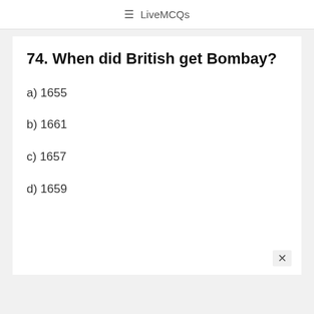☰ LiveMCQs
74. When did British get Bombay?
a) 1655
b) 1661
c) 1657
d) 1659